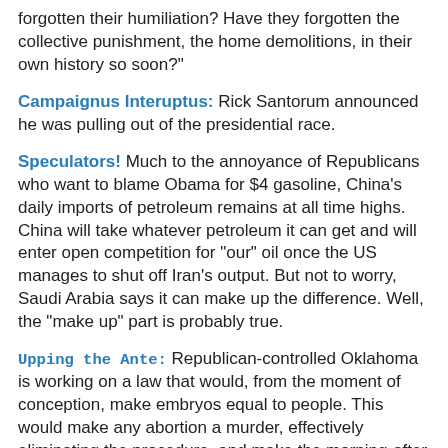forgotten their humiliation? Have they forgotten the collective punishment, the home demolitions, in their own history so soon?"
Campaignus Interuptus: Rick Santorum announced he was pulling out of the presidential race.
Speculators! Much to the annoyance of Republicans who want to blame Obama for $4 gasoline, China's daily imports of petroleum remains at all time highs. China will take whatever petroleum it can get and will enter open competition for "our" oil once the US manages to shut off Iran's output. But not to worry, Saudi Arabia says it can make up the difference. Well, the "make up" part is probably true.
Upping the Ante: Republican-controlled Oklahoma is working on a law that would, from the moment of conception, make embryos equal to people. This would make any abortion a murder, effectively eliminating the procedure, and make the morning-after pill homicide. Do women get to vote in Oklahoma?
Water Is Still Wet: We are shocked to learn that banks let